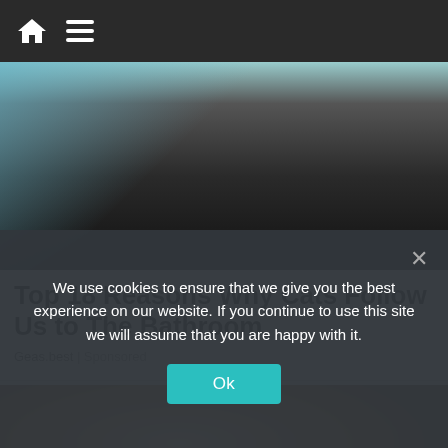Navigation bar with home icon and menu icon
[Figure (photo): Top portion of a webpage image showing dark clothing/bag with blue background]
Top 18 Reasons Why Cats Follow Us to The Bathroom
Geas.best | Sponsored
[Figure (photo): Close-up photo of a person's eye and eyebrow]
We use cookies to ensure that we give you the best experience on our website. If you continue to use this site we will assume that you are happy with it.